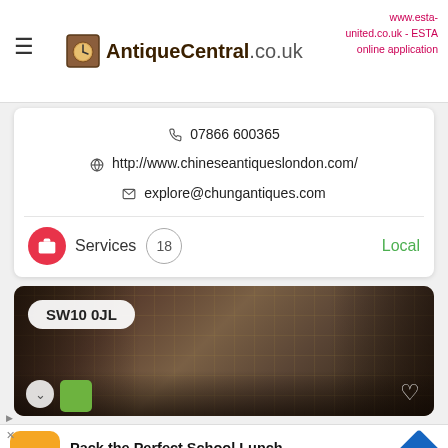AntiqueCentral.co.uk
www.esta-united.co.uk - ESTA online application
07866 600365
http://www.chineseantiqueslondon.com/
explore@chungantiques.com
Services  18  Local
[Figure (photo): Interior room with ornate wallpaper, curtains, antique furniture. Postcode badge SW10 0JL shown.]
Pack the Perfect School Lunch
Wegmans